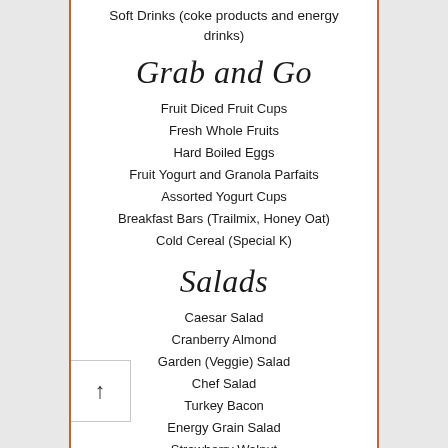Soft Drinks (coke products and energy drinks)
Grab and Go
Fruit Diced Fruit Cups
Fresh Whole Fruits
Hard Boiled Eggs
Fruit Yogurt and Granola Parfaits
Assorted Yogurt Cups
Breakfast Bars (Trailmix, Honey Oat)
Cold Cereal (Special K)
Salads
Caesar Salad
Cranberry Almond
Garden (Veggie) Salad
Chef Salad
Turkey Bacon
Energy Grain Salad
Strawberry Walnut